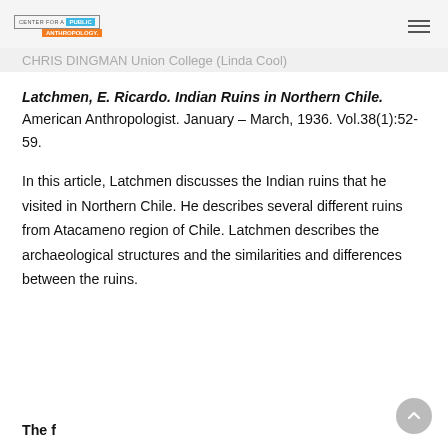CENTER FOR A PUBLIC ANTHROPOLOGY
CHRIS DINGMAN Union College (Linda Cool)
Latchmen, E. Ricardo. Indian Ruins in Northern Chile. American Anthropologist. January – March, 1936. Vol.38(1):52-59.
In this article, Latchmen discusses the Indian ruins that he visited in Northern Chile. He describes several different ruins from Atacameno region of Chile. Latchmen describes the archaeological structures and the similarities and differences between the ruins.
The first...